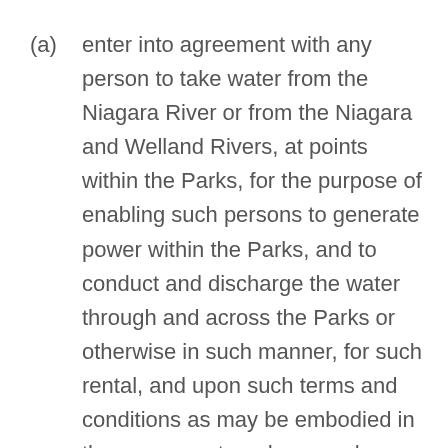(a) enter into agreement with any person to take water from the Niagara River or from the Niagara and Welland Rivers, at points within the Parks, for the purpose of enabling such persons to generate power within the Parks, and to conduct and discharge the water through and across the Parks or otherwise in such manner, for such rental, and upon such terms and conditions as may be embodied in the agreement, and any such agreement may include provisions as to the removal or demolition of any buildings or structures and the re-erection of the same, or the erection of other buildings...